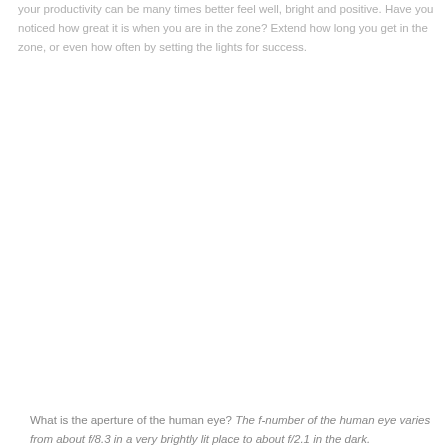your productivity can be many times better feel well, bright and positive. Have you noticed how great it is when you are in the zone? Extend how long you get in the zone, or even how often by setting the lights for success.
What is the aperture of the human eye? The f-number of the human eye varies from about f/8.3 in a very brightly lit place to about f/2.1 in the dark.